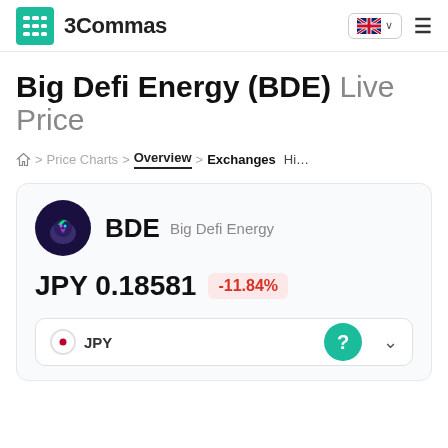3Commas
Big Defi Energy (BDE) Live Price
Home > Price Charts > Overview > Exchanges > History
BDE Big Defi Energy
JPY 0.18581 -11.84%
JPY